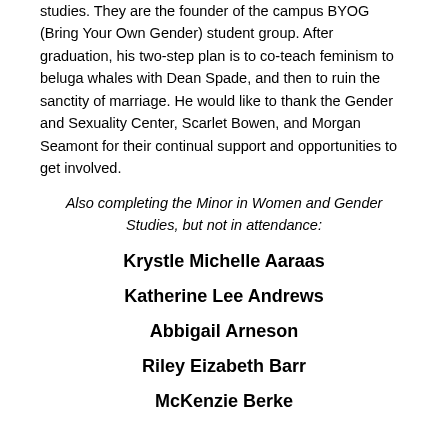studies. They are the founder of the campus BYOG (Bring Your Own Gender) student group. After graduation, his two-step plan is to co-teach feminism to beluga whales with Dean Spade, and then to ruin the sanctity of marriage. He would like to thank the Gender and Sexuality Center, Scarlet Bowen, and Morgan Seamont for their continual support and opportunities to get involved.
Also completing the Minor in Women and Gender Studies, but not in attendance:
Krystle Michelle Aaraas
Katherine Lee Andrews
Abbigail Arneson
Riley Eizabeth Barr
McKenzie Berke